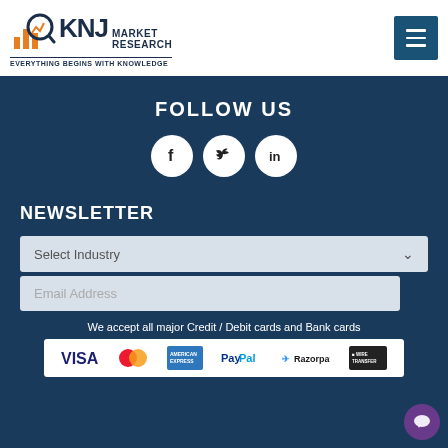[Figure (logo): KNJ Market Research logo with orange/dark icon and text 'EVERYTHING BEGINS WITH KNOWLEDGE']
[Figure (illustration): Dark blue menu hamburger button]
FOLLOW US
[Figure (illustration): Social media icons: Facebook, Twitter, LinkedIn in white circles]
NEWSLETTER
[Figure (illustration): Select Industry dropdown and Email Address input field]
We accept all major Credit / Debit cards and Bank cards
[Figure (illustration): Payment logos: VISA, MasterCard, American Express, PayPal, Razorpay, Wire Transfer]